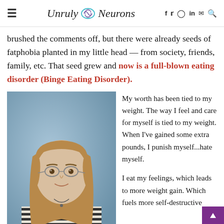≡  Unruly Neurons  [brain icon]  f  𝕏  ○  in  ✉  🔍
brushed the comments off, but there were already seeds of fatphobia planted in my little head — from society, friends, family, etc. That seed grew and now is a full-blown eating disorder (Binge Eating Disorder).
[Figure (photo): School portrait photo of a young girl with long blonde-brown hair, glasses, wearing a striped shirt, against a blue background]
My worth has been tied to my weight. The way I feel and care for myself is tied to my weight. When I've gained some extra pounds, I punish myself...hate myself.

I eat my feelings, which leads to more weight gain. Which fuels more self-destructive